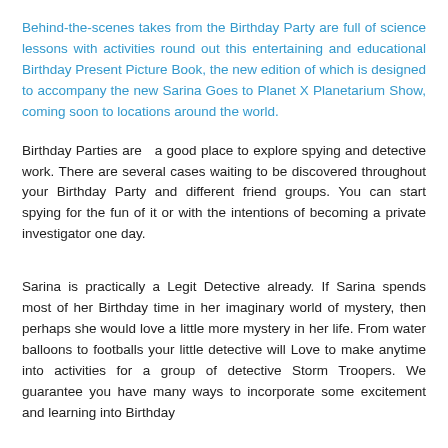Behind-the-scenes takes from the Birthday Party are full of science lessons with activities round out this entertaining and educational Birthday Present Picture Book, the new edition of which is designed to accompany the new Sarina Goes to Planet X Planetarium Show, coming soon to locations around the world.
Birthday Parties are  a good place to explore spying and detective work. There are several cases waiting to be discovered throughout your Birthday Party and different friend groups. You can start spying for the fun of it or with the intentions of becoming a private investigator one day.
Sarina is practically a Legit Detective already. If Sarina spends most of her Birthday time in her imaginary world of mystery, then perhaps she would love a little more mystery in her life. From water balloons to footballs your little detective will Love to make anytime into activities for a group of detective Storm Troopers. We guarantee you have many ways to incorporate some excitement and learning into Birthday